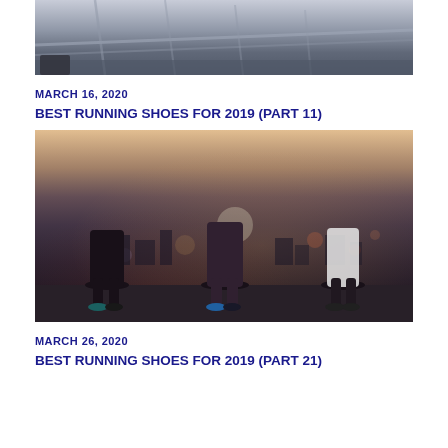[Figure (photo): Top portion of a photo showing a railing/bridge structure with blurred background, partial crop]
MARCH 16, 2020
BEST RUNNING SHOES FOR 2019 (PART 11)
[Figure (photo): Three runners standing with their backs to the camera, wearing running shorts and shoes, with a city skyline at dusk in the background]
MARCH 26, 2020
BEST RUNNING SHOES FOR 2019 (PART 21)